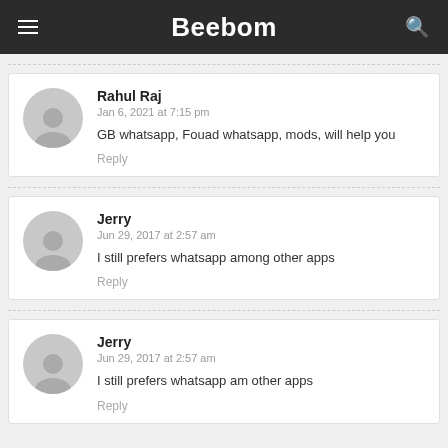Beebom
Rahul Raj
Jan 6, 2021 at 7:15 pm
GB whatsapp, Fouad whatsapp, mods, will help you
Reply
Jerry
Jun 29, 2017 at 2:57 am
I still prefers whatsapp among other apps
Reply
Jerry
Jun 29, 2017 at 2:57 am
I still prefers whatsapp am other apps
Reply